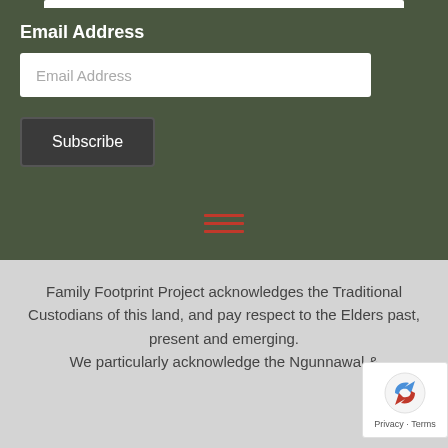Email Address
Email Address (input placeholder)
Subscribe
[Figure (other): Hamburger menu icon made of three red horizontal lines]
Family Footprint Project acknowledges the Traditional Custodians of this land, and pay respect to the Elders past, present and emerging.
We particularly acknowledge the Ngunnawal &